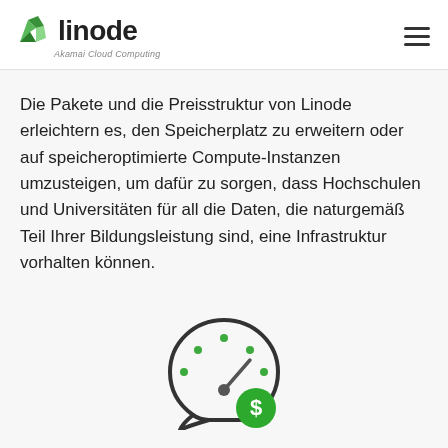linode | Akamai Cloud Computing
Die Pakete und die Preisstruktur von Linode erleichtern es, den Speicherplatz zu erweitern oder auf speicheroptimierte Compute-Instanzen umzusteigen, um dafür zu sorgen, dass Hochschulen und Universitäten für all die Daten, die naturgemäß Teil Ihrer Bildungsleistung sind, eine Infrastruktur vorhalten können.
[Figure (illustration): Dashboard/speedometer icon with a green dollar sign badge in the bottom right, indicating cost-efficient cloud computing pricing.]